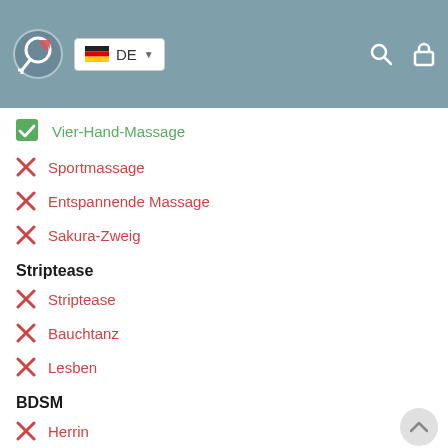DE (German language selector with logo and search/lock icons)
✓ Vier-Hand-Massage
✗ Sportmassage
✗ Entspannende Massage
✗ Sakura-Zweig
Striptease
✗ Striptease
✗ Bauchtanz
✗ Lesben
BDSM
✗ Herrin
✗ Leichte Dominanz
✗ BDSM
✗ Sklave
✗ Strap-on
✗ Rollenspiele